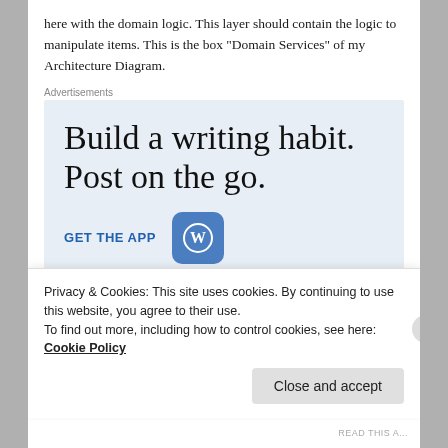here with the domain logic. This layer should contain the logic to manipulate items. This is the box “Domain Services” of my Architecture Diagram.
Advertisements
[Figure (other): WordPress advertisement with text 'Build a writing habit. Post on the go.' and a 'GET THE APP' call-to-action with WordPress logo]
Privacy & Cookies: This site uses cookies. By continuing to use this website, you agree to their use.
To find out more, including how to control cookies, see here: Cookie Policy
Close and accept